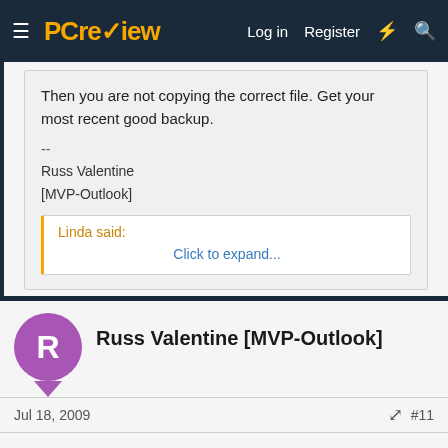PC review — Log in  Register
Then you are not copying the correct file. Get your most recent good backup.
--
Russ Valentine
[MVP-Outlook]
Linda said:
Click to expand...
Reply
Russ Valentine [MVP-Outlook]
Jul 18, 2009    #11
Clarify what you mean when you say your "addresses" didn't import. If you open your Contacts Folder, are there any Contacts? Do you